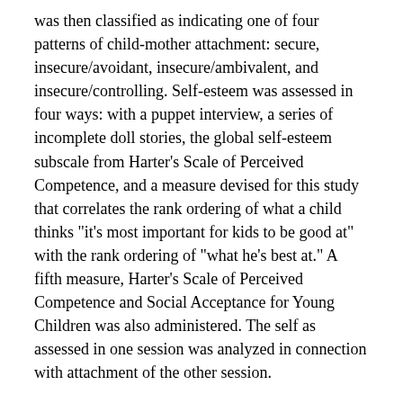was then classified as indicating one of four patterns of child-mother attachment: secure, insecure/avoidant, insecure/ambivalent, and insecure/controlling. Self-esteem was assessed in four ways: with a puppet interview, a series of incomplete doll stories, the global self-esteem subscale from Harter's Scale of Perceived Competence, and a measure devised for this study that correlates the rank ordering of what a child thinks "it's most important for kids to be good at" with the rank ordering of "what he's best at." A fifth measure, Harter's Scale of Perceived Competence and Social Acceptance for Young Children was also administered. The self as assessed in one session was analyzed in connection with attachment of the other session.
Quality of attachment, the puppet interview, the ranked domains assessment, and the one doll story that was repeated were all stable across sessions. The puppet interview, the assessment using the incomplete doll stories, and Harter's global self-esteem subscale were all somewhat related to attachment, as were three of four subscales on Harter's Scale for Young Children. In addition, there was a tendency for particular patterns of responses